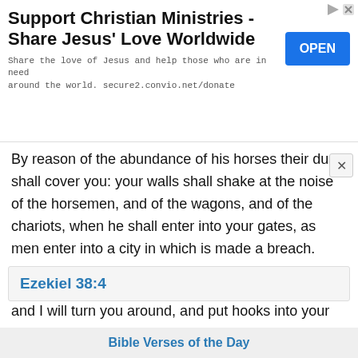[Figure (other): Advertisement banner for Support Christian Ministries with OPEN button]
By reason of the abundance of his horses their dust shall cover you: your walls shall shake at the noise of the horsemen, and of the wagons, and of the chariots, when he shall enter into your gates, as men enter into a city in which is made a breach.
Ezekiel 38:4
and I will turn you around, and put hooks into your jaws, and I will bring you forth, with all your army, horses and horsemen, all of them clothed in full
Bible Verses of the Day